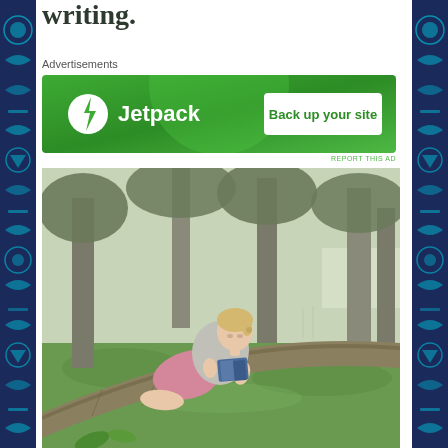writing.
Advertisements
[Figure (other): Jetpack advertisement banner with green background, Jetpack logo on left and 'Back up your site' button on right]
REPORT THIS AD
[Figure (photo): A teenage girl with blonde hair sitting on a fallen tree branch in a park, reading a book. She is wearing a grey t-shirt and pink shorts, barefoot. Trees and green grass are visible in the background.]